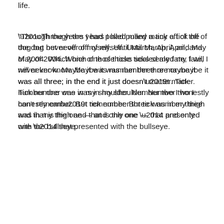life.
“Through the years I had pulled many a tick off of the dog but never off of myself. Until March, April, and May of 2004. Which one of those ticks sealed my fate, I will never know. Maybe it was number three or maybe it was all three; in the end it just doesn’t matter. Tick number one was in my shoulder. Number two I honestly can’t remember. But tick number three was in my thigh and that is the one — and only one — that presented with the bullseye.
“Within days I wasn’t feeling well. I felt like I had the flu. I was achy and running just the tiniest of low grade fevers but I wasn’t worried because I was pregnant again and just naturally assumed it was the pregnancy making me feel like garbage. I showed my mom the rash. She immediately told me to go to the doctor. ‘That is a sign of Lyme,’ she said. It’s not often that we can look back on a specific moment in time and think ‘what I wouldn’t give to go back to that exact moment.’ Of course, I didn’t go to the doctor, at least not right away.